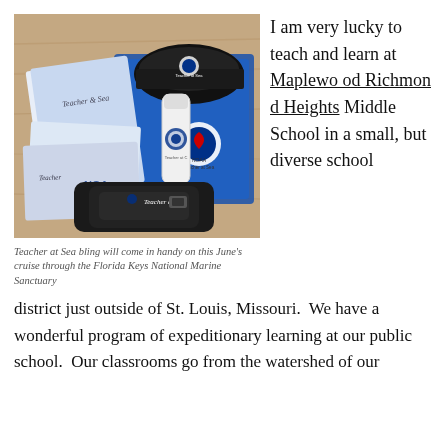[Figure (photo): NOAA Teacher at Sea branded merchandise including a black cap, blue t-shirt, water bottle, fanny pack, and booklets spread on a wooden table.]
Teacher at Sea bling will come in handy on this June's cruise through the Florida Keys National Marine Sanctuary
I am very lucky to teach and learn at Maplewood Richmond Heights Middle School in a small, but diverse school district just outside of St. Louis, Missouri.  We have a wonderful program of expeditionary learning at our public school.  Our classrooms go from the watershed of our
district just outside of St. Louis, Missouri.  We have a wonderful program of expeditionary learning at our public school.  Our classrooms go from the watershed of our